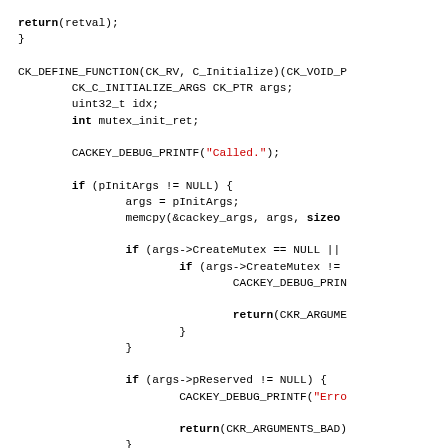[Figure (other): Source code in C showing CK_DEFINE_FUNCTION for C_Initialize, with variable declarations, debug prints, conditional mutex checks, and argument validation logic.]